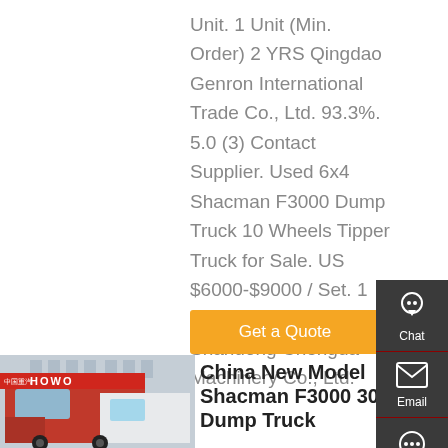Unit. 1 Unit (Min. Order) 2 YRS Qingdao Genron International Trade Co., Ltd. 93.3%. 5.0 (3) Contact Supplier. Used 6x4 Shacman F3000 Dump Truck 10 Wheels Tipper Truck for Sale. US $6000-$9000 / Set. 1 Set (Min. Order) 3 YRS Shandong Chengda Machinery Co., Ltd.
[Figure (other): Get a Quote orange button]
[Figure (photo): Photo of a red HOWO truck cab at a dealership with white trucks in background]
China New Model Shacman F3000 30ton Dump Truck